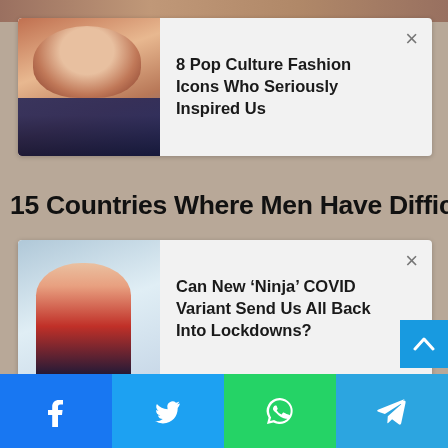[Figure (screenshot): Website screenshot showing two promoted article cards with close buttons, a headline text strip, a main photo of a woman wearing white headphones seated in a gaming chair, social share buttons bar at the bottom (Facebook, Twitter, WhatsApp, Telegram), and a blue scroll-to-top button.]
8 Pop Culture Fashion Icons Who Seriously Inspired Us
15 Countries Where Men Have Difficulties Finding
Can New ‘Ninja’ COVID Variant Send Us All Back Into Lockdowns?